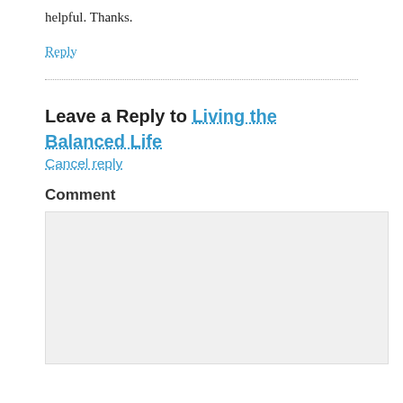helpful. Thanks.
Reply
Leave a Reply to Living the Balanced Life
Cancel reply
Comment